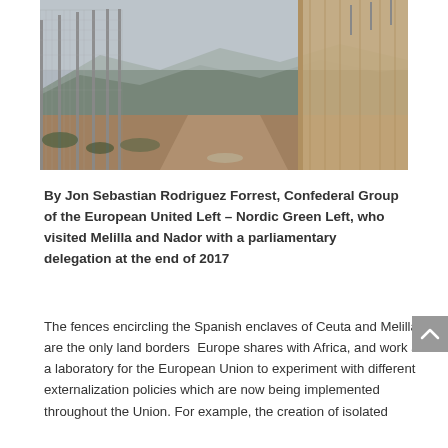[Figure (photo): Photo of a tall metal border fence with razor wire, viewed from a dirt path between two fence lines, with mountains visible in the background under an overcast sky.]
By Jon Sebastian Rodriguez Forrest, Confederal Group of the European United Left – Nordic Green Left, who visited Melilla and Nador with a parliamentary delegation at the end of 2017
The fences encircling the Spanish enclaves of Ceuta and Melilla are the only land borders Europe shares with Africa, and work as a laboratory for the European Union to experiment with different externalization policies which are now being implemented throughout the Union. For example, the creation of isolated